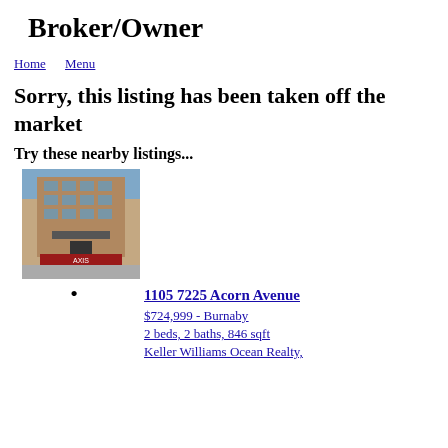Broker/Owner
Home  Menu
Sorry, this listing has been taken off the market
Try these nearby listings...
[Figure (photo): Exterior photo of a multi-story condominium building with brick facade, sign reading 'AXIS', street level view]
1105 7225 Acorn Avenue
$724,999 - Burnaby
2 beds, 2 baths, 846 sqft
Keller Williams Ocean Realty,